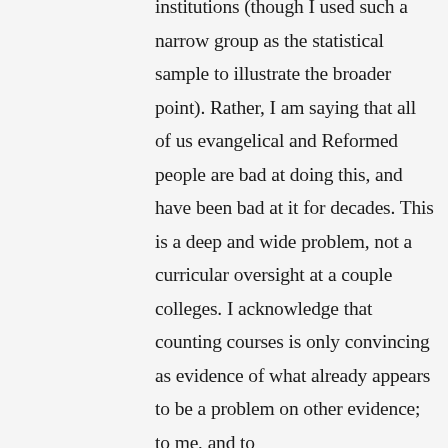institutions (though I used such a narrow group as the statistical sample to illustrate the broader point). Rather, I am saying that all of us evangelical and Reformed people are bad at doing this, and have been bad at it for decades. This is a deep and wide problem, not a curricular oversight at a couple colleges. I acknowledge that counting courses is only convincing as evidence of what already appears to be a problem on other evidence; to me, and to